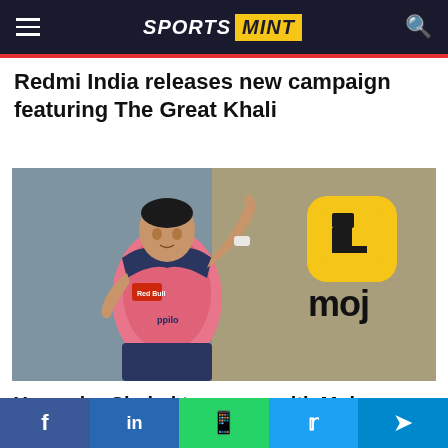SPORTS MINT
Redmi India releases new campaign featuring The Great Khali
[Figure (photo): Cricket player in pink Rajasthan Royals jersey pointing with index finger, with Moj app logo overlaid on the right side of the image]
Yuvendra Chahal teams up with Moj...
f  in  WhatsApp  Twitter  Telegram